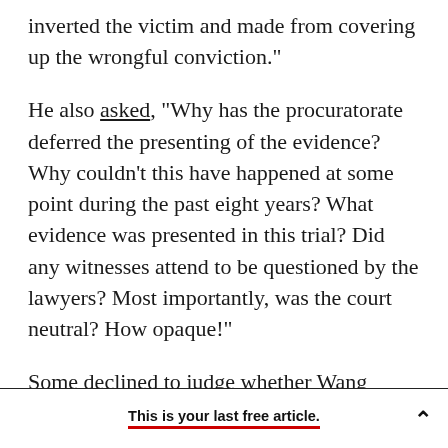inverted the victim and made from covering up the wrongful conviction."
He also asked, "Why has the procuratorate deferred the presenting of the evidence? Why couldn't this have happened at some point during the past eight years? What evidence was presented in this trial? Did any witnesses attend to be questioned by the lawyers? Most importantly, was the court neutral? How opaque!"
Some declined to judge whether Wang Shujin or Nie Shubin was the guilty party, arguing that suspects must be presumed innocent until proven
This is your last free article.